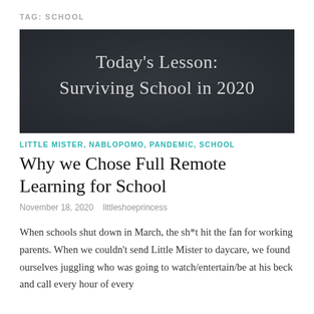TAG: SCHOOL
[Figure (illustration): Dark chalkboard image with white serif text reading "Today's Lesson: Surviving School in 2020"]
LITTLE MISTER, NABLOPOMO, PANDEMIC, SCHOOL
Why we Chose Full Remote Learning for School
November 18, 2020    littleshoeprincess
When schools shut down in March, the sh*t hit the fan for working parents. When we couldn't send Little Mister to daycare, we found ourselves juggling who was going to watch/entertain/be at his beck and call every hour of every